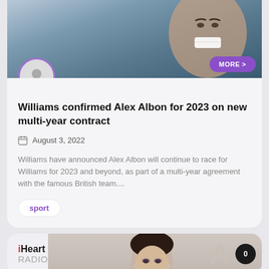[Figure (photo): Photo of a smiling young man, partially cropped, with a purple MORE button overlay and a circular avatar placeholder]
Williams confirmed Alex Albon for 2023 on new multi-year contract
August 3, 2022
Williams have announced Alex Albon will continue to race for Williams for 2023 and beyond, as part of a multi-year agreement with the famous British team....
sport
[Figure (screenshot): iHeart Radio card with partial photo of a woman and a comment badge showing 0]